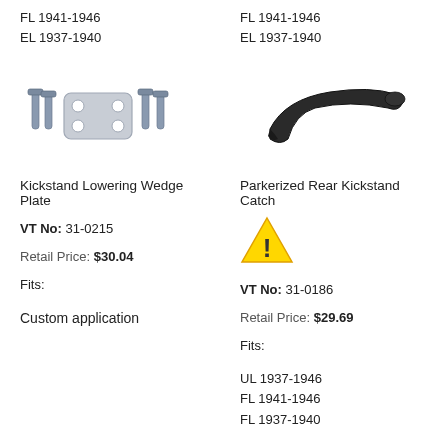FL 1941-1946
EL 1937-1940
FL 1941-1946
EL 1937-1940
[Figure (photo): Kickstand Lowering Wedge Plate with bolts]
[Figure (photo): Parkerized Rear Kickstand Catch]
Kickstand Lowering Wedge Plate
Parkerized Rear Kickstand Catch
VT No: 31-0215
[Figure (other): Warning triangle icon]
Retail Price: $30.04
VT No: 31-0186
Fits:
Retail Price: $29.69
Custom application
Fits:
UL 1937-1946
FL 1941-1946
FL 1937-1940